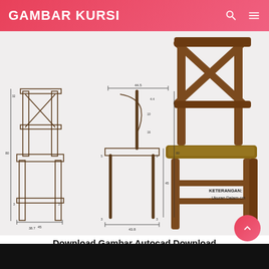GAMBAR KURSI
[Figure (engineering-diagram): AutoCAD technical drawing of a chair showing front elevation and side profile with dimensions in cm, plus a 3D rendered perspective view. Dimensions include: width 44.5 cm, height 80 cm approx, seat height ~45 cm, leg section 43.8 cm wide. Notes: KETERANGAN: - Ukuran Dalam cm]
Download Gambar Autocad Download Block Meja Kursi Autocad